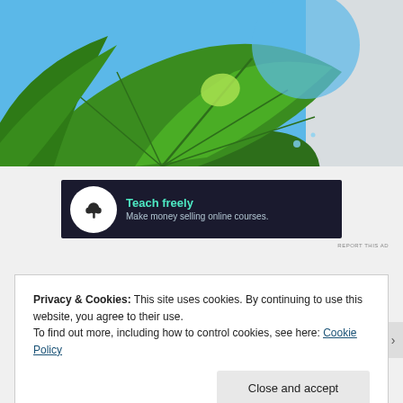[Figure (photo): Close-up of large green tropical leaves (cartoon/illustrated style) against a blue background]
[Figure (other): Advertisement banner with dark background: tree icon, title 'Teach freely', subtitle 'Make money selling online courses.']
REPORT THIS AD
Privacy & Cookies: This site uses cookies. By continuing to use this website, you agree to their use.
To find out more, including how to control cookies, see here: Cookie Policy
Close and accept